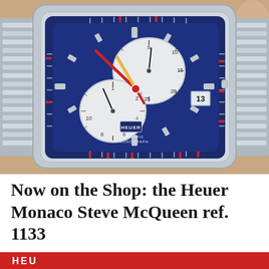[Figure (photo): Close-up photo of a Heuer Monaco Steve McQueen ref. 1133 chronograph watch with blue dial, white sub-dials, red hands, and steel bracelet on a steel square case.]
Now on the Shop: the Heuer Monaco Steve McQueen ref. 1133
[Figure (photo): Partial bottom image strip showing red and white graphic, likely a logo or banner related to the watch shop.]